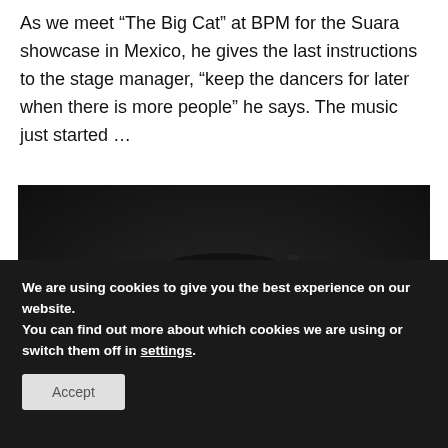As we meet “The Big Cat” at BPM for the Suara showcase in Mexico, he gives the last instructions to the stage manager, “keep the dancers for later when there is more people” he says. The music just started …
[Figure (photo): A man wearing a dark NY Yankees baseball cap photographed at night with a blurred city skyline and bokeh lights in the background. The photo is dark and moody in tone.]
We are using cookies to give you the best experience on our website.
You can find out more about which cookies we are using or switch them off in settings.